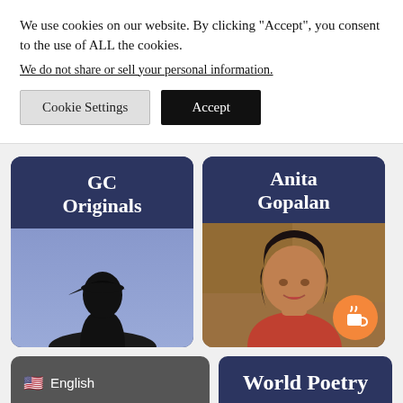We use cookies on our website. By clicking “Accept”, you consent to the use of ALL the cookies.
We do not share or sell your personal information.
Cookie Settings
Accept
[Figure (illustration): GC Originals card with dark navy header text on dark blue background and a silhouette of a person wearing a cap on a purple-blue gradient background]
[Figure (photo): Anita Gopalan card with name in white on dark navy background, and a photo of a woman with dark hair wearing a red shirt against a rocky background]
🇺🇸 English
World Poetry